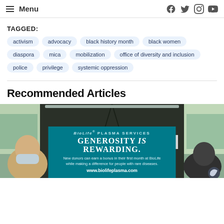Menu | social icons: Facebook, Twitter, Instagram, YouTube
TAGGED:
activism
advocacy
black history month
black women
diaspora
mica
mobilization
office of diversity and inclusion
police
privilege
systemic oppression
Recommended Articles
[Figure (photo): Interior of a bus with passengers, overlaid with a BioLife Plasma Services advertisement reading 'Generosity is Rewarding. New donors can earn a bonus in their first month at BioLife while making a difference for people with rare diseases. www.biolifeplasma.com']